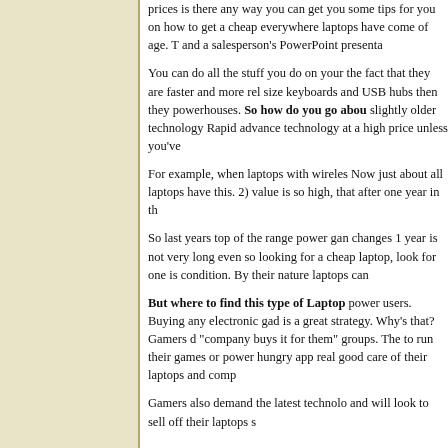prices is there any way you can get you some tips for you on how to get a cheap everywhere laptops have come of age. T and a salesperson's PowerPoint presenta
You can do all the stuff you do on your the fact that they are faster and more rel size keyboards and USB hubs then they powerhouses. **So how do you go abou slightly older technology Rapid advance technology at a high price unless you've
For example, when laptops with wireles Now just about all laptops have this. 2) value is so high, that after one year in th
So last years top of the range power gan changes 1 year is not very long even so looking for a cheap laptop, look for one is condition. By their nature laptops can
**But where to find this type of Laptop power users. Buying any electronic gad is a great strategy. Why's that? Gamers d "company buys it for them" groups. The to run their games or power hungry app real good care of their laptops and comp
Gamers also demand the latest technolo and will look to sell off their laptops s